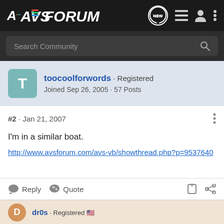AVS FORUM — navigation bar with NEW, list, user, and menu icons
Search Community
toocoolforwords · Registered
Joined Sep 26, 2005 · 57 Posts
#2 · Jan 21, 2007
​I'm in a similar boat.
http://www.avsforum.com/avs-vb/showthread.php?p=9537640
Reply   Quote
dr0s · Registered 🇺🇸